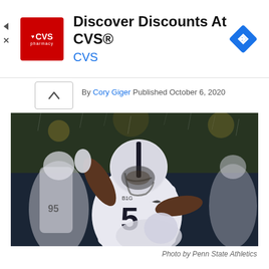[Figure (other): CVS Pharmacy advertisement banner with logo, 'Discover Discounts At CVS®' headline, CVS subline in blue, and navigation arrow icon]
By Cory Giger Published October 6, 2020
[Figure (photo): Penn State football player wearing number 5 in white uniform and helmet, celebrating with arm raised, during a rainy night game]
Photo by Penn State Athletics